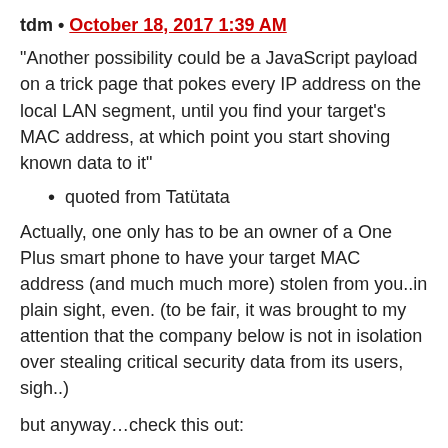tdm • October 18, 2017 1:39 AM
“Another possibility could be a JavaScript payload on a trick page that pokes every IP address on the local LAN segment, until you find your target's MAC address, at which point you start shoving known data to it”
quoted from Tatütata
Actually, one only has to be an owner of a One Plus smart phone to have your target MAC address (and much much more) stolen from you..in plain sight, even. (to be fair, it was brought to my attention that the company below is not in isolation over stealing critical security data from its users, sigh..)
but anyway…check this out:
Or, as recently uncovered by chris moore, a security researcher, if you happen to be a One Plus smart phone user, the company has been found to be collecting secretly the following data from you:
OnePlus is collecting sensitive private data like IMEI